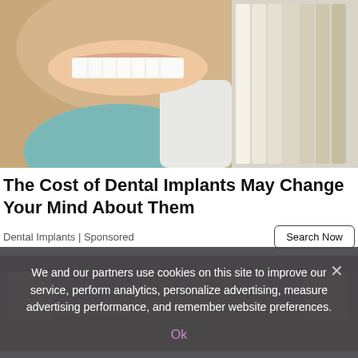[Figure (photo): Dental advertisement photo: woman smiling in dental chair with tooth shade guide held up]
The Cost of Dental Implants May Change Your Mind About Them
Dental Implants | Sponsored
[Figure (photo): Photo of a wooden dining table with chairs in a rustic setting]
We and our partners use cookies on this site to improve our service, perform analytics, personalize advertising, measure advertising performance, and remember website preferences.
Ok